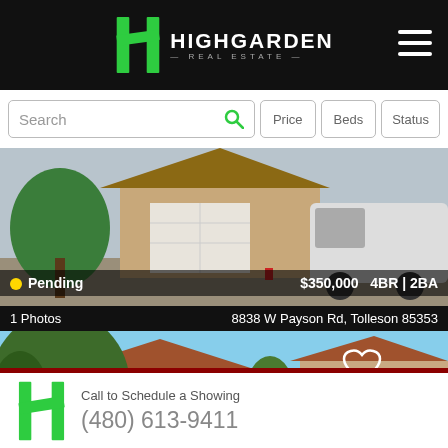[Figure (logo): Highgarden Real Estate logo with green H icon on black header]
[Figure (screenshot): Search bar with Price, Beds, Status filter buttons]
[Figure (photo): House photo showing garage and driveway — Pending listing at $350,000, 4BR | 2BA, 8838 W Payson Rd, Tolleson 85353, 1 Photos]
[Figure (photo): Second house listing photo showing stucco home with garage and heart icon]
Call to Schedule a Showing
(480) 613-9411